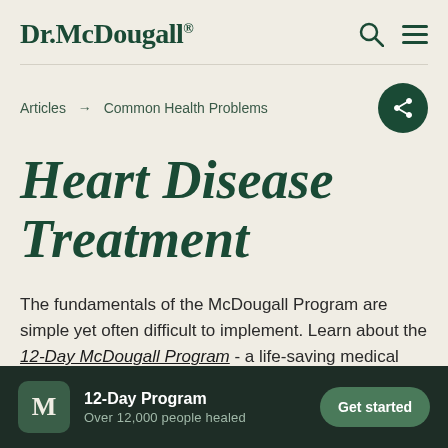Dr. McDougall®
Articles → Common Health Problems
Heart Disease Treatment
The fundamentals of the McDougall Program are simple yet often difficult to implement. Learn about the 12-Day McDougall Program - a life-saving medical program that
12-Day Program
Over 12,000 people healed
Get started